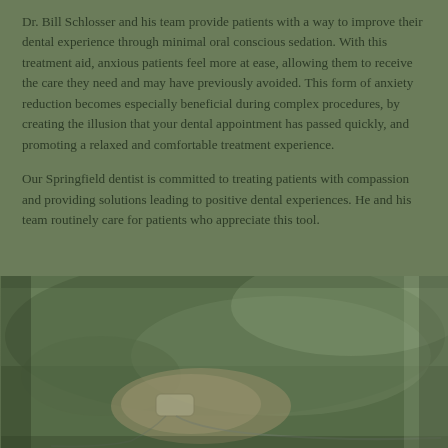Dr. Bill Schlosser and his team provide patients with a way to improve their dental experience through minimal oral conscious sedation. With this treatment aid, anxious patients feel more at ease, allowing them to receive the care they need and may have previously avoided. This form of anxiety reduction becomes especially beneficial during complex procedures, by creating the illusion that your dental appointment has passed quickly, and promoting a relaxed and comfortable treatment experience.
Our Springfield dentist is committed to treating patients with compassion and providing solutions leading to positive dental experiences. He and his team routinely care for patients who appreciate this tool.
[Figure (photo): A blurred close-up photo of a patient's hand with a pulse oximeter clip attached to a finger, resting in a dental chair. The image has a green-tinted overlay.]